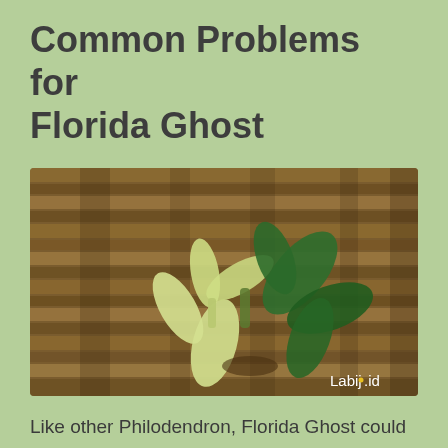Common Problems for Florida Ghost
[Figure (photo): A Florida Ghost Philodendron plant with pale cream/yellow-green leaves alongside darker green leaves, placed against a bamboo/wooden slat background. Watermark reads 'Labijo.id' in the bottom right corner.]
Like other Philodendron, Florida Ghost could get fireblight caused by bacteria Erwinia amylovora